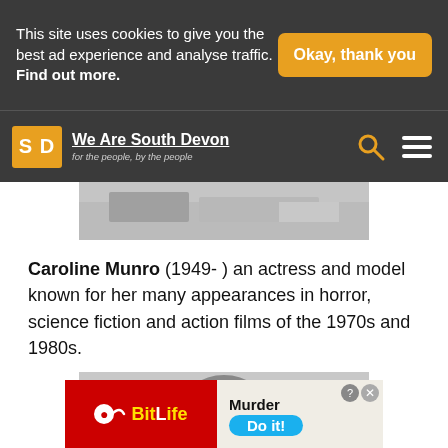This site uses cookies to give you the best ad experience and analyse traffic. Find out more.
Okay, thank you
We Are South Devon — for the people, by the people
[Figure (photo): Partial black and white photo at top of page, appears to show a person]
Caroline Munro (1949- ) an actress and model known for her many appearances in horror, science fiction and action films of the 1970s and 1980s.
[Figure (photo): Black and white portrait photo of Caroline Munro, showing her face and dark hair]
[Figure (other): BitLife advertisement banner with Murder / Do it! text]